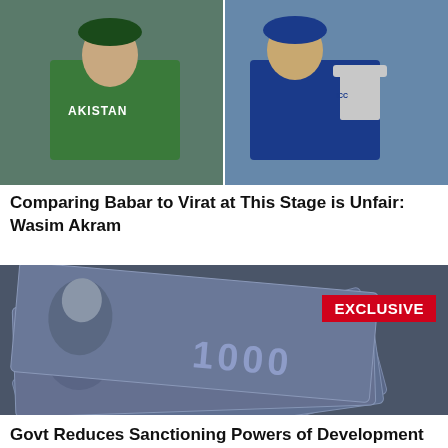[Figure (photo): Two cricket players side by side: left player in green Pakistan jersey, right player in blue India jersey holding a trophy]
Comparing Babar to Virat at This Stage is Unfair: Wasim Akram
[Figure (photo): Pakistani 1000 rupee banknotes fanned out, with a red EXCLUSIVE badge overlay in the top right corner]
Govt Reduces Sanctioning Powers of Development